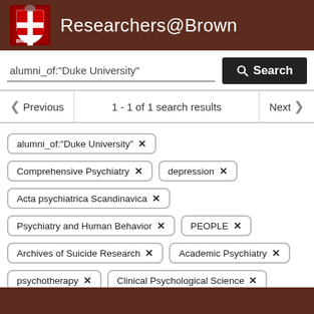Researchers@Brown
alumni_of:"Duke University"
Search
Previous | 1 - 1 of 1 search results | Next
alumni_of:"Duke University" ✕
Comprehensive Psychiatry ✕
depression ✕
Acta psychiatrica Scandinavica ✕
Psychiatry and Human Behavior ✕
PEOPLE ✕
Archives of Suicide Research ✕
Academic Psychiatry ✕
psychotherapy ✕
Clinical Psychological Science ✕